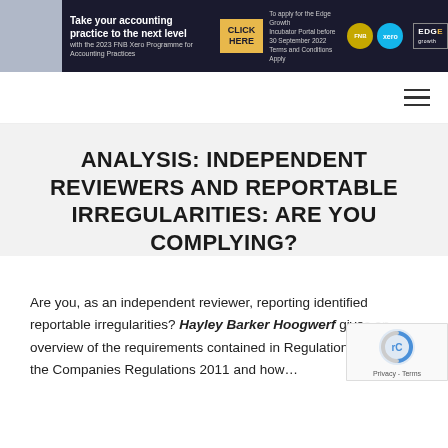[Figure (screenshot): FNB Xero Programme banner advertisement with person image, 'Take your accounting practice to the next level with the 2023 FNB Xero Programme for Accounting Practices', CLICK HERE button, apply details, FNB and Xero logos, Edge Growth logo]
ANALYSIS: INDEPENDENT REVIEWERS AND REPORTABLE IRREGULARITIES: ARE YOU COMPLYING?
Are you, as an independent reviewer, reporting identified reportable irregularities? Hayley Barker Hoogwerf gives an overview of the requirements contained in Regulation the Companies Regulations 2011 and how…